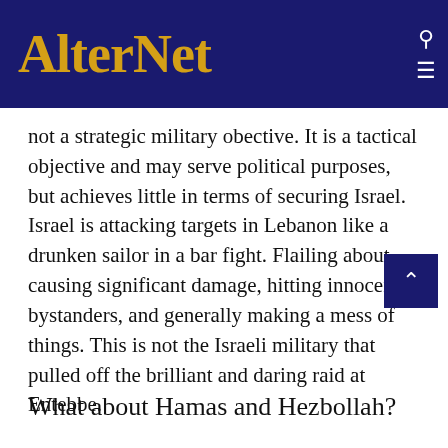AlterNet
not a strategic military obective. It is a tactical objective and may serve political purposes, but achieves little in terms of securing Israel. Israel is attacking targets in Lebanon like a drunken sailor in a bar fight. Flailing about, causing significant damage, hitting innocent bystanders, and generally making a mess of things. This is not the Israeli military that pulled off the brilliant and daring raid at Entebbe.
What about Hamas and Hezbollah?